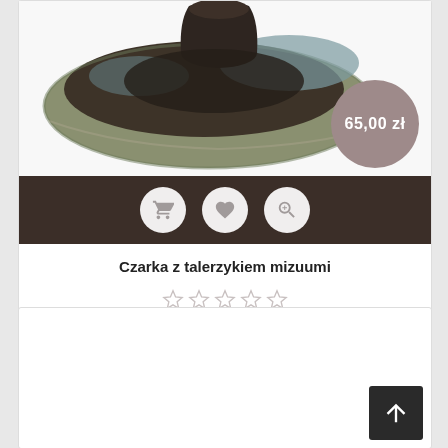[Figure (photo): Ceramic bowl (czarka) with saucer (talerzykiem) mizuumi product photo, dark glazed ceramic on white background]
65,00 zł
[Figure (infographic): Dark action bar with three circular buttons: shopping cart icon, heart/wishlist icon, and zoom/magnify icon]
Czarka z talerzykiem mizuumi
[Figure (infographic): 5-star empty rating widget showing 5 unfilled stars]
[Figure (infographic): Second product card (partially visible) with back-to-top arrow button in bottom right corner]